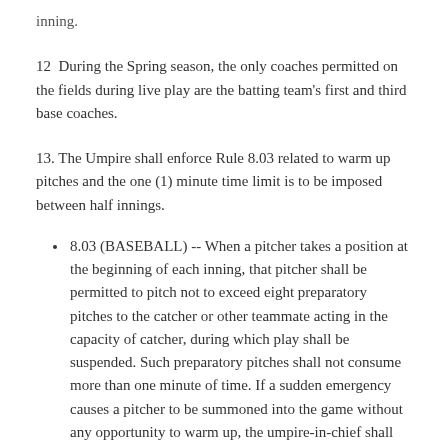inning.
12.  During the Spring season, the only coaches permitted on the fields during live play are the batting team's first and third base coaches.
13. The Umpire shall enforce Rule 8.03 related to warm up pitches and the one (1) minute time limit is to be imposed between half innings.
8.03 (BASEBALL) -- When a pitcher takes a position at the beginning of each inning, that pitcher shall be permitted to pitch not to exceed eight preparatory pitches to the catcher or other teammate acting in the capacity of catcher, during which play shall be suspended. Such preparatory pitches shall not consume more than one minute of time. If a sudden emergency causes a pitcher to be summoned into the game without any opportunity to warm up, the umpire-in-chief shall allow the pitcher to warm up the...